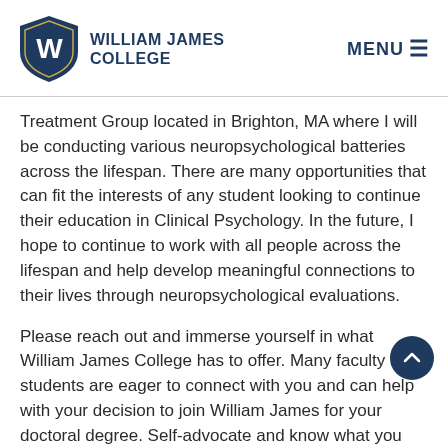William James College
Treatment Group located in Brighton, MA where I will be conducting various neuropsychological batteries across the lifespan. There are many opportunities that can fit the interests of any student looking to continue their education in Clinical Psychology. In the future, I hope to continue to work with all people across the lifespan and help develop meaningful connections to their lives through neuropsychological evaluations.
Please reach out and immerse yourself in what William James College has to offer. Many faculty and students are eager to connect with you and can help with your decision to join William James for your doctoral degree. Self-advocate and know what you really are seeking out